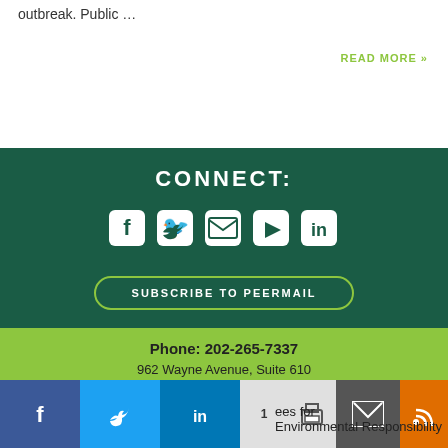outbreak. Public …
READ MORE »
CONNECT:
[Figure (infographic): Social media icons: Facebook, Twitter, Email, YouTube, LinkedIn]
SUBSCRIBE TO PEERMAIL
Phone: 202-265-7337
962 Wayne Avenue, Suite 610
Silver Spring, MD 20910-4453
Privacy Guarantee • Contact PEER • Donate
© … PEER employees for
Environmental Responsibility
[Figure (infographic): Social share bar: Facebook, Twitter, LinkedIn, Print, Email, RSS icons]